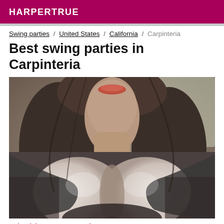HARPERTRUE
Swing parties / United States / California / Carpinteria
Best swing parties in Carpinteria
[Figure (photo): Close-up photo of a woman with long dark hair, orange lipstick, wearing a dark grey top]
mischievous meeting